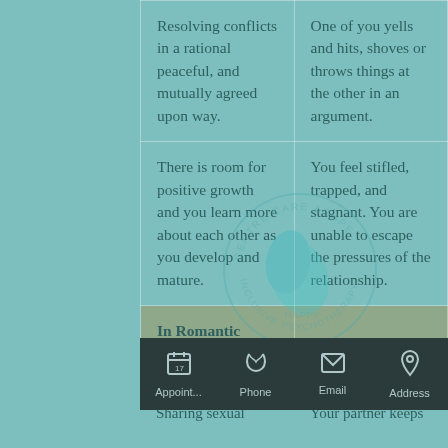| Healthy Relationship | Unhealthy Relationship |
| --- | --- |
| Resolving conflicts in a rational peaceful, and mutually agreed upon way. | One of you yells and hits, shoves or throws things at the other in an argument. |
| There is room for positive growth and you learn more about each other as you develop and mature. | You feel stifled, trapped, and stagnant. You are unable to escape the pressures of the relationship. |
| In Romantic Relationships the following also |  |
| Sharing sexual | Your partner keeps |
[Figure (logo): Watermark circular logo with leaf/plant icon and text around the circle]
Appoint... | Phone | Email | Address